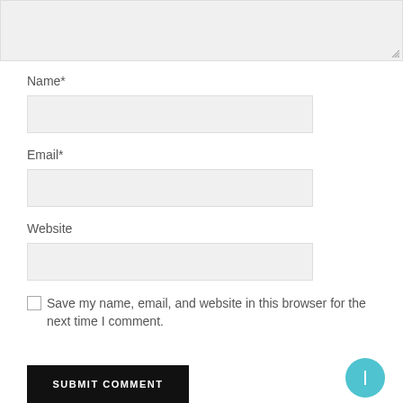[Figure (screenshot): Top portion of a comment form showing a textarea input box (grayed out, with resize handle), followed by Name*, Email*, Website label-input pairs, a save checkbox, and a Submit Comment button with a circular teal icon button.]
Name*
Email*
Website
Save my name, email, and website in this browser for the next time I comment.
SUBMIT COMMENT